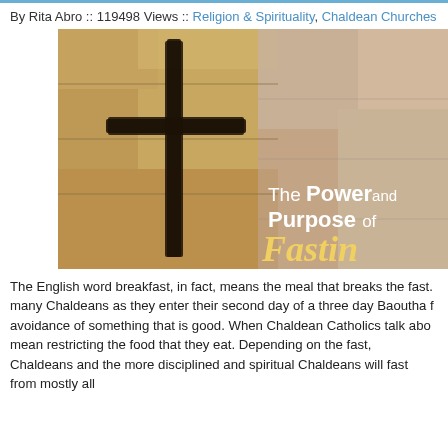By Rita Abro :: 119498 Views :: Religion & Spirituality, Chaldean Churches
[Figure (photo): Stone wall background with a dark cross in the center-left, and text reading 'The Power and Purpose of Fastin[g]' on the right side in white and yellow lettering.]
The English word breakfast, in fact, means the meal that breaks the fast. many Chaldeans as they enter their second day of a three day Baoutha f avoidance of something that is good. When Chaldean Catholics talk abo mean restricting the food that they eat. Depending on the fast, Chaldeans and the more disciplined and spiritual Chaldeans will fast from mostly all